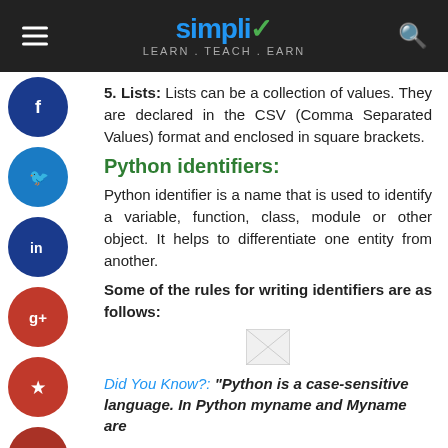simpliv Learn. Teach. Earn.
5. Lists: Lists can be a collection of values. They are declared in the CSV (Comma Separated Values) format and enclosed in square brackets.
Python identifiers:
Python identifier is a name that is used to identify a variable, function, class, module or other object. It helps to differentiate one entity from another.
Some of the rules for writing identifiers are as follows:
[Figure (other): Small broken/placeholder image icon]
Did You Know?: "Python is a case-sensitive language. In Python myname and Myname are